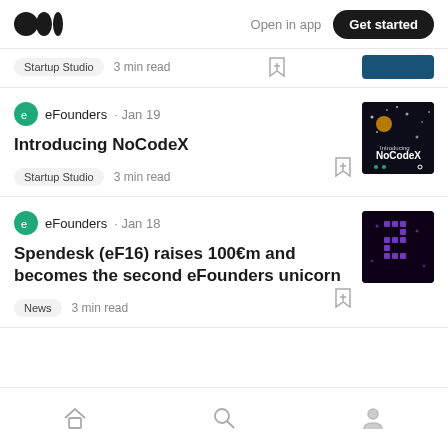Medium logo | Open in app | Get started
Startup Studio · 3 min read
eFounders · Jan 19
Introducing NoCodeX
Startup Studio  3 min read
eFounders · Jan 18
Spendesk (eF16) raises 100€m and becomes the second eFounders unicorn
News  3 min read
Home | Search | Profile